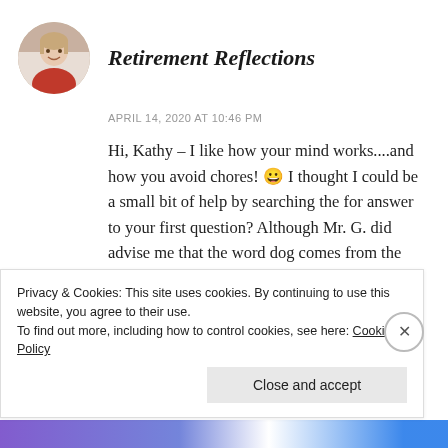[Figure (photo): Circular avatar photo of a woman in a red jacket]
Retirement Reflections
APRIL 14, 2020 AT 10:46 PM
Hi, Kathy – I like how your mind works....and how you avoid chores! 😀 I thought I could be a small bit of help by searching the for answer to your first question? Although Mr. G. did advise me that the word dog comes from the Old English 'docga', a late, rare word, used in at least one Middle English
Privacy & Cookies: This site uses cookies. By continuing to use this website, you agree to their use.
To find out more, including how to control cookies, see here: Cookie Policy
Close and accept